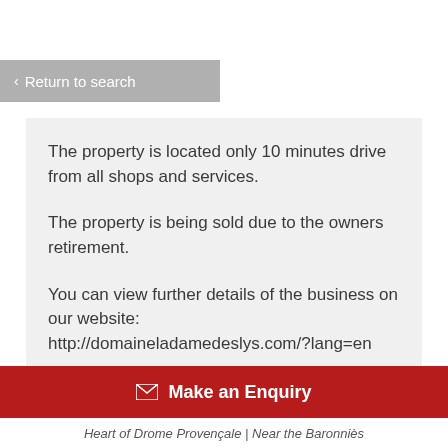< Return to search
The property is located only 10 minutes drive from all shops and services.

The property is being sold due to the owners retirement.

You can view further details of the business on our website: http://domaineladamedeslys.com/?lang=en
✉ Make an Enquiry
Heart of Drome Provençale | Near the Baronniès